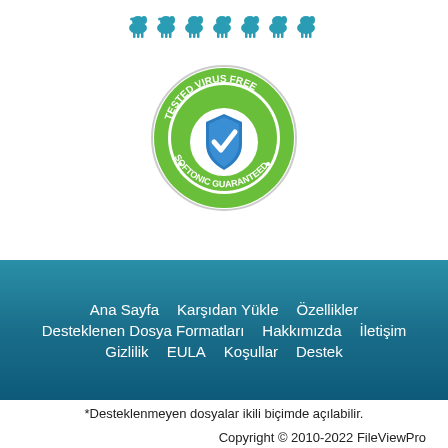[Figure (logo): Row of blue cow silhouette icons (7 cows) used as a decorative/branding element]
[Figure (logo): Softonic 'Tested Virus Free / Softonic Guaranteed' badge: circular green and blue badge with shield checkmark icon]
Ana Sayfa   Karşıdan Yükle   Özellikler   Desteklenen Dosya Formatları   Hakkımızda   İletişim   Gizlilik   EULA   Koşullar   Destek
*Desteklenmeyen dosyalar ikili biçimde açılabilir.
Copyright © 2010-2022 FileViewPro